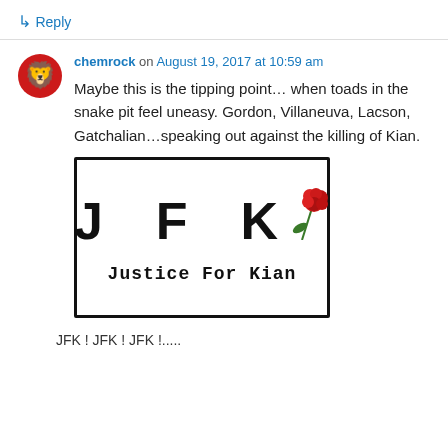↳ Reply
chemrock on August 19, 2017 at 10:59 am
Maybe this is the tipping point… when toads in the snake pit feel uneasy. Gordon, Villaneuva, Lacson, Gatchalian…speaking out against the killing of Kian.
[Figure (illustration): A bordered image with large bold letters 'J F K' with a red rose graphic, and below it the text 'Justice For Kian' in bold monospace font.]
JFK ! JFK ! JFK !.....